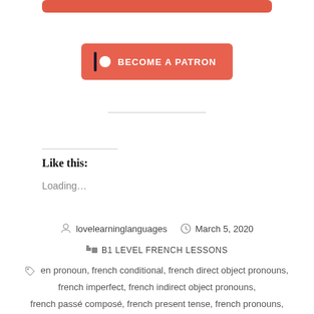[Figure (other): Red rounded button bar at top (partially visible)]
[Figure (other): Become a Patron button with Patreon icon (pipe and circle), salmon/red background, white bold text]
Like this:
Loading…
lovelearninglanguages   March 5, 2020
B1 LEVEL FRENCH LESSONS
en pronoun, french conditional, french direct object pronouns, french imperfect, french indirect object pronouns, french passé composé, french present tense, french pronouns,